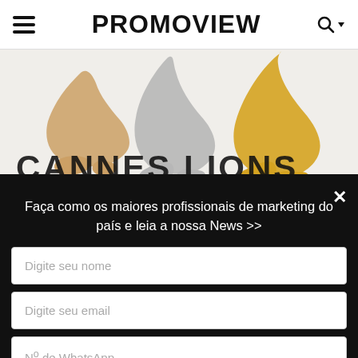PROMOVIEW
[Figure (illustration): Cannes Lions logo showing three stylized lion paw/leg silhouettes in bronze, silver, and gold colors with partial text 'CANNES LIONS' below]
Faça como os maiores profissionais de marketing do país e leia a nossa News >>
Digite seu nome
Digite seu email
Nº de WhatsApp
Enviar